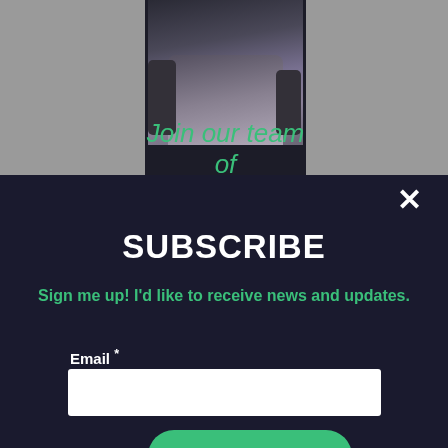[Figure (photo): Partial photo of a person in a gray/blue outfit, visible from torso down, set inside a dark-colored card area with gray background on the sides. Text 'Join our team of volunteers!' overlaid in green italic text below the photo.]
Join our team of volunteers!
SUBSCRIBE
Sign me up! I'd like to receive news and updates.
Email *
Subscribe